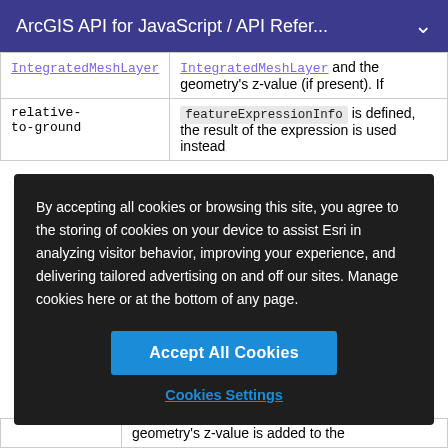ArcGIS API for JavaScript / API Refer...
| relative-to-ground | IntegratedMeshLayer and the geometry's z-value (if present). If featureExpressionInfo is defined, the result of the expression is used instead |
By accepting all cookies or browsing this site, you agree to the storing of cookies on your device to assist Esri in analyzing visitor behavior, improving your experience, and delivering tailored advertising on and off our sites. Manage cookies here or at the bottom of any page.
Accept All Cookies
Cookies Settings
|  | geometry's z-value is added to the |